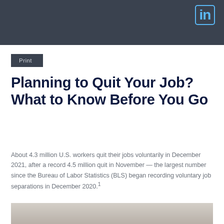in
Print
Planning to Quit Your Job? What to Know Before You Go
About 4.3 million U.S. workers quit their jobs voluntarily in December 2021, after a record 4.5 million quit in November — the largest number since the Bureau of Labor Statistics (BLS) began recording voluntary job separations in December 2020.¹
[Figure (photo): A woman with blonde hair facing the camera, professional office setting in the background.]